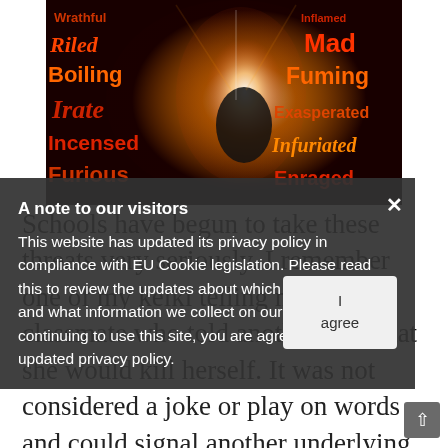[Figure (photo): Word cloud image with anger-related words (Wrathful, Riled, Boiling, Irate, Incensed, Furious, Mad, Fuming, Exasperated, Infuriated, Enraged) overlaid on an image of a person screaming with fiery/glowing effect]
Schools have begun to take these threats very seriously. I remember one of my keiki telling me about a classmate who told another peer that she would kill herself. It was not considered a joke or play on words and could signal another underlying concern and should be explored further. Fortunately, the students overhearing this
A note to our visitors
This website has updated its privacy policy in compliance with EU Cookie legislation. Please read this to review the updates about which cookies we use and what information we collect on our site. By continuing to use this site, you are agreeing to our updated privacy policy.